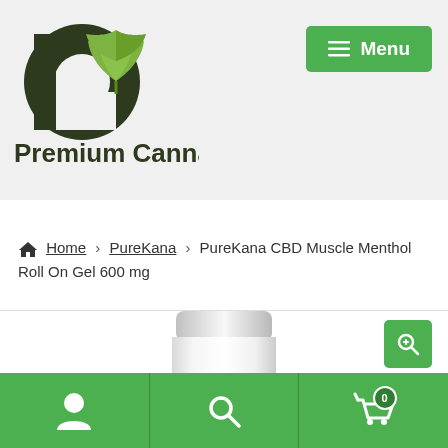[Figure (logo): Premium Cannas logo with a dark green letter P and green cannabis leaf, text reads 'Premium Cannas']
[Figure (screenshot): Green Menu button with hamburger icon in top right]
Home > PureKana > PureKana CBD Muscle Menthol Roll On Gel 600 mg
[Figure (photo): Top portion of a white cylindrical product (roll-on gel bottle) visible at bottom of page]
[Figure (screenshot): Green magnifier/zoom icon button in top-right of product area]
[Figure (screenshot): Green bottom navigation bar with user icon, search icon, and cart icon with badge showing 0]